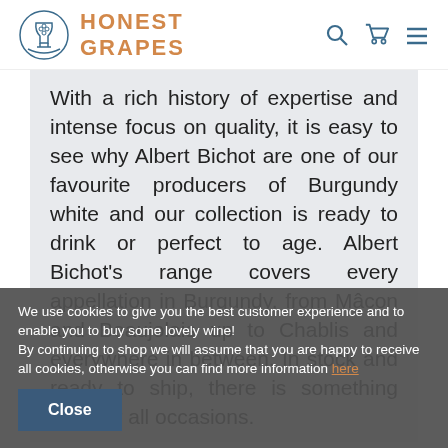[Figure (logo): Honest Grapes logo: circular grape/goblet icon in blue outline, with 'HONEST GRAPES' text in orange/copper bold uppercase letters]
With a rich history of expertise and intense focus on quality, it is easy to see why Albert Bichot are one of our favourite producers of Burgundy white and our collection is ready to drink or perfect to age. Albert Bichot's range covers every appellation in Burgundy, from Mâcon and Beaujolais up to Chablis and everywhere in between. In stock and ready to ship, there is something here for all occasions.
We use cookies to give you the best customer experience and to enable you to buy some lovely wine!
By continuing to shop we will assume that you are happy to receive all cookies, otherwise you can find more information here
Close